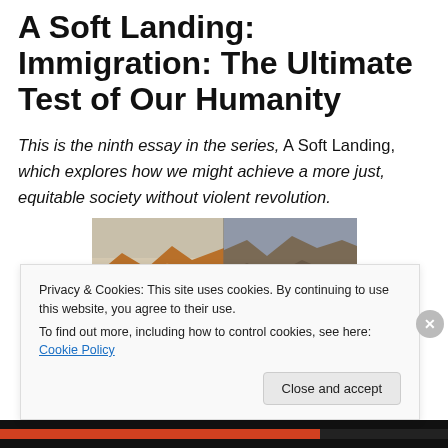A Soft Landing: Immigration: The Ultimate Test of Our Humanity
This is the ninth essay in the series, A Soft Landing, which explores how we might achieve a more just, equitable society without violent revolution.
[Figure (photo): A mountain landscape photo split into two panels — left panel shows warm orange-toned rocky peaks, right panel shows the same or similar mountains in cooler, darker tones.]
Privacy & Cookies: This site uses cookies. By continuing to use this website, you agree to their use.
To find out more, including how to control cookies, see here: Cookie Policy